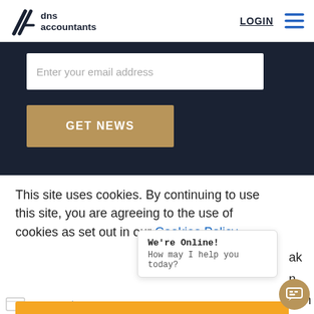[Figure (logo): DNS Accountants logo with diagonal lines icon and company name]
LOGIN
[Figure (other): Hamburger menu icon with three blue horizontal lines]
Enter your email address
GET NEWS
This site uses cookies. By continuing to use this site, you are agreeing to the use of cookies as set out in our Cookies Policy
Close
We're Online!
How may I help you today?
Register one of our features